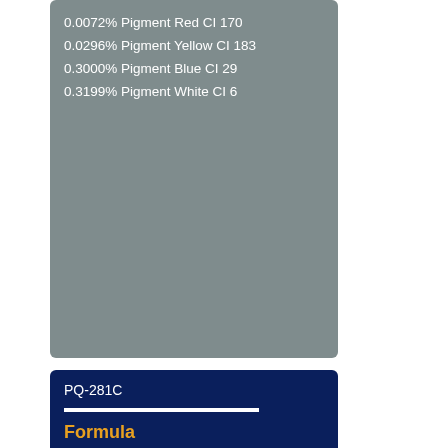0.0072% Pigment Red CI 170
0.0296% Pigment Yellow CI 183
0.3000% Pigment Blue CI 29
0.3199% Pigment White CI 6
PQ-281C
Formula
0.0088% White CI 6
0.0035% Black CI 7
0.0601% Pigment Green CI 17
2.1999% Blue CI 29 Green
PQ-2727C